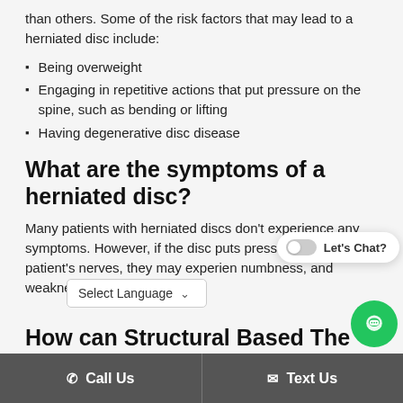than others. Some of the risk factors that may lead to a herniated disc include:
Being overweight
Engaging in repetitive actions that put pressure on the spine, such as bending or lifting
Having degenerative disc disease
What are the symptoms of a herniated disc?
Many patients with herniated discs don't experience any symptoms. However, if the disc puts pressure on the patient's nerves, they may experience pain, numbness, and weakness in the affected area.
How can Structural Based The... help p... th...